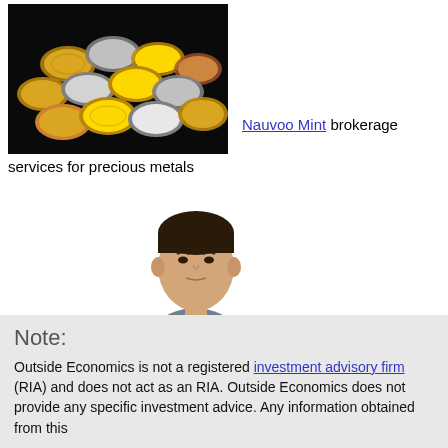[Figure (photo): A pile of gold and silver coins on a dark background (Nauvoo Mint precious metals)]
Nauvoo Mint brokerage services for precious metals
[Figure (photo): A man in a striped shirt sitting in a chair with his hands clasped, posing for a photo]
Note:
Outside Economics is not a registered investment advisory firm (RIA) and does not act as an RIA. Outside Economics does not provide any specific investment advice. Any information obtained from this